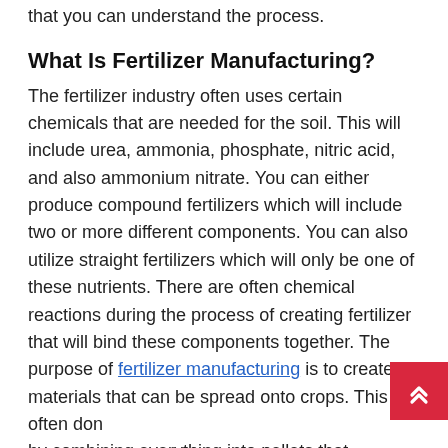that you can understand the process.
What Is Fertilizer Manufacturing?
The fertilizer industry often uses certain chemicals that are needed for the soil. This will include urea, ammonia, phosphate, nitric acid, and also ammonium nitrate. You can either produce compound fertilizers which will include two or more different components. You can also utilize straight fertilizers which will only be one of these nutrients. There are often chemical reactions during the process of creating fertilizer that will bind these components together. The purpose of fertilizer manufacturing is to create materials that can be spread onto crops. This is often done by combining everything into pellets that